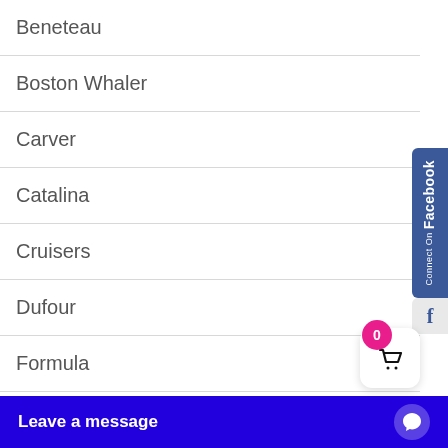Beneteau
Boston Whaler
Carver
Catalina
Cruisers
Dufour
Formula
Hampton
Jeanneau